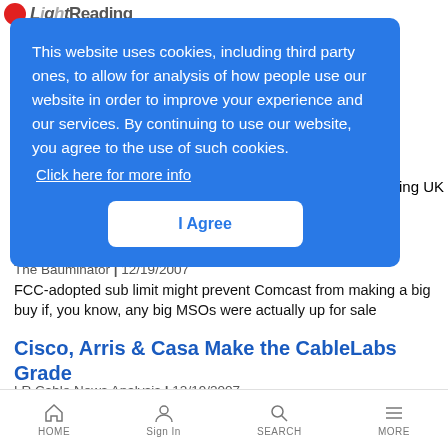Light Reading
This website uses cookies, including third party ones, to allow for analysis of how people use our website in order to improve your experience and our services. By continuing to use our website, you agree to the use of such cookies.
Click here for more info
I Agree
wing UK
The Bauminator | 12/19/2007
FCC-adopted sub limit might prevent Comcast from making a big buy if, you know, any big MSOs were actually up for sale
Cisco, Arris & Casa Make the CableLabs Grade
LR Cable News Analysis | 12/19/2007
HOME  Sign In  SEARCH  MORE